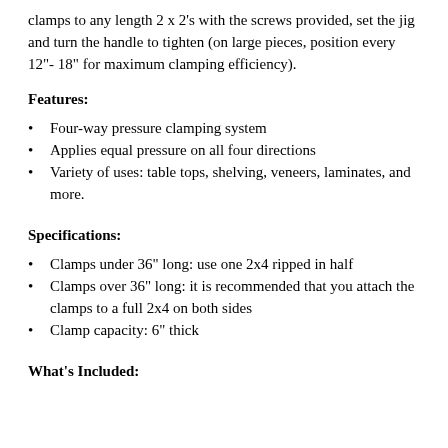clamps to any length 2 x 2's with the screws provided, set the jig and turn the handle to tighten (on large pieces, position every 12"- 18" for maximum clamping efficiency).
Features:
Four-way pressure clamping system
Applies equal pressure on all four directions
Variety of uses: table tops, shelving, veneers, laminates, and more.
Specifications:
Clamps under 36" long: use one 2x4 ripped in half
Clamps over 36" long: it is recommended that you attach the clamps to a full 2x4 on both sides
Clamp capacity: 6" thick
What's Included: